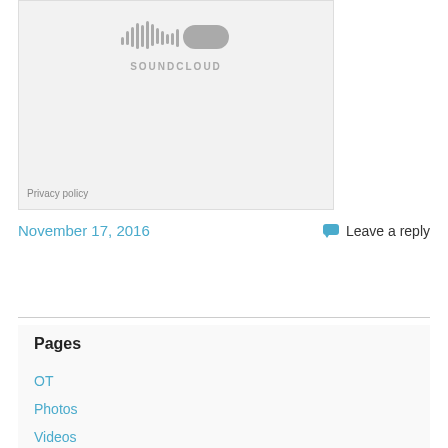[Figure (screenshot): SoundCloud embedded player widget showing the SoundCloud logo (waveform bars and rounded rectangle icon above the text SOUNDCLOUD) on a light gray background, with a Privacy policy link at the bottom left.]
Privacy policy
November 17, 2016
Leave a reply
Pages
OT
Photos
Videos